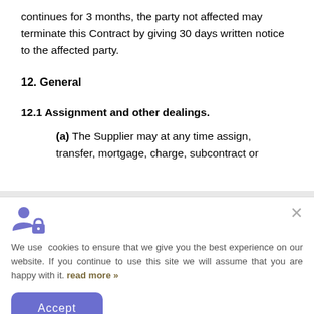continues for 3 months, the party not affected may terminate this Contract by giving 30 days written notice to the affected party.
12. General
12.1 Assignment and other dealings.
(a) The Supplier may at any time assign, transfer, mortgage, charge, subcontract or
We use cookies to ensure that we give you the best experience on our website. If you continue to use this site we will assume that you are happy with it. read more »
Accept